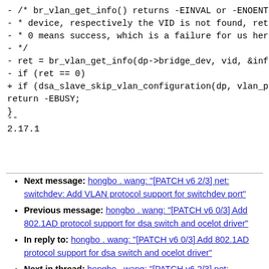- /* br_vlan_get_info() returns -EINVAL or -ENOENT if the
- * device, respectively the VID is not found, returning
- * 0 means success, which is a failure for us here.
- */
- ret = br_vlan_get_info(dp->bridge_dev, vid, &info);
- if (ret == 0)
+ if (dsa_slave_skip_vlan_configuration(dp, vlan_proto, vid))
return -EBUSY;
}
--
2.17.1
Next message: hongbo . wang: "[PATCH v6 2/3] net: switchdev: Add VLAN protocol support for switchdev port"
Previous message: hongbo . wang: "[PATCH v6 0/3] Add 802.1AD protocol support for dsa switch and ocelot driver"
In reply to: hongbo . wang: "[PATCH v6 0/3] Add 802.1AD protocol support for dsa switch and ocelot driver"
Next in thread: hongbo . wang: "[PATCH v6 2/3] net: switchdev: Add VLAN protocol support for switchdev port"
Messages sorted by: [ date ] [ thread ] [ subject ] [ author ]